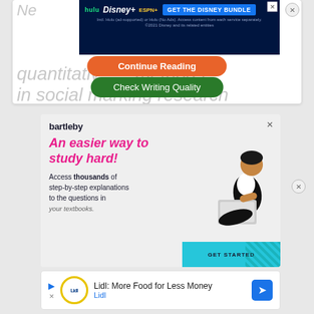[Figure (screenshot): Disney Bundle advertisement banner with Hulu, Disney+, ESPN+ logos and 'GET THE DISNEY BUNDLE' call to action button]
quantitative methods in social marketing research
[Figure (screenshot): Orange 'Continue Reading' button overlay]
[Figure (screenshot): Green 'Check Writing Quality' button overlay]
[Figure (screenshot): Bartleby advertisement: 'An easier way to study hard! Access thousands of step-by-step explanations to the questions in your textbooks. GET STARTED']
[Figure (screenshot): Lidl advertisement: 'Lidl: More Food for Less Money - Lidl']